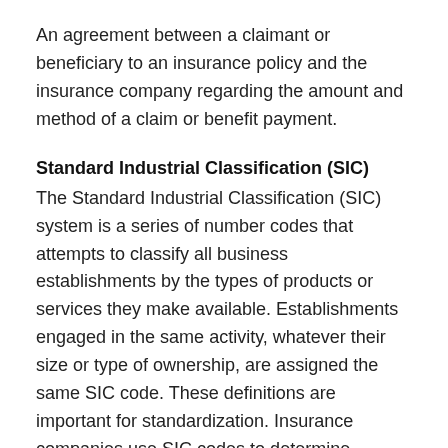An agreement between a claimant or beneficiary to an insurance policy and the insurance company regarding the amount and method of a claim or benefit payment.
Standard Industrial Classification (SIC)
The Standard Industrial Classification (SIC) system is a series of number codes that attempts to classify all business establishments by the types of products or services they make available. Establishments engaged in the same activity, whatever their size or type of ownership, are assigned the same SIC code. These definitions are important for standardization. Insurance companies use SIC codes to determine specific rates for various industries. HealthInsurance.com uses these codes